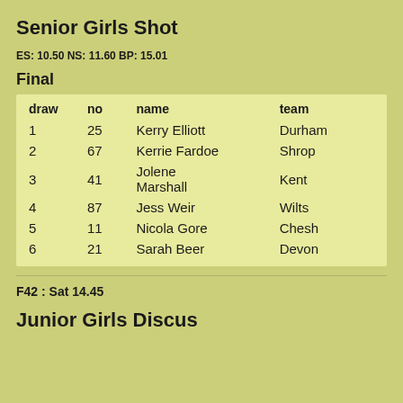Senior Girls Shot
ES: 10.50 NS: 11.60 BP: 15.01
Final
| draw | no | name | team |
| --- | --- | --- | --- |
| 1 | 25 | Kerry Elliott | Durham |
| 2 | 67 | Kerrie Fardoe | Shrop |
| 3 | 41 | Jolene Marshall | Kent |
| 4 | 87 | Jess Weir | Wilts |
| 5 | 11 | Nicola Gore | Chesh |
| 6 | 21 | Sarah Beer | Devon |
F42 : Sat 14.45
Junior Girls Discus